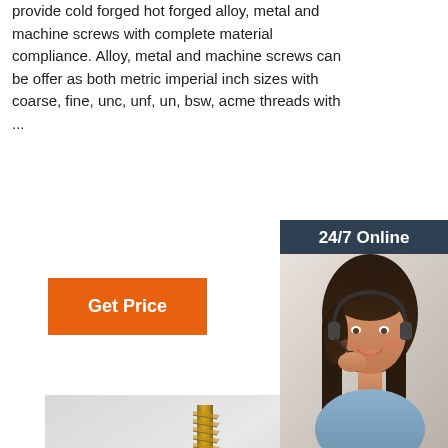provide cold forged hot forged alloy, metal and machine screws with complete material compliance. Alloy, metal and machine screws can be offer as both metric imperial inch sizes with coarse, fine, unc, unf, un, bsw, acme threads with ...
Get Price
[Figure (photo): 24/7 Online chat support sidebar with a customer service representative wearing a headset, dark navy background, orange QUOTATION button, text 'Click here for free chat!']
[Figure (photo): Close-up photo of a gold/brass wood screw standing upright on a reflective surface, with MONSUN watermark text in the background]